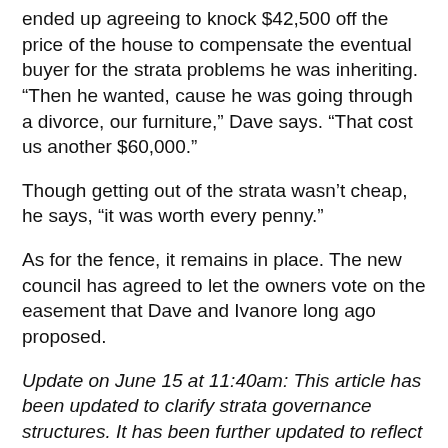ended up agreeing to knock $42,500 off the price of the house to compensate the eventual buyer for the strata problems he was inheriting. “Then he wanted, cause he was going through a divorce, our furniture,” Dave says. “That cost us another $60,000.”
Though getting out of the strata wasn’t cheap, he says, “it was worth every penny.”
As for the fence, it remains in place. The new council has agreed to let the owners vote on the easement that Dave and Ivanore long ago proposed.
Update on June 15 at 11:40am: This article has been updated to clarify strata governance structures. It has been further updated to reflect that there are nearly 34,000 stratas in BC, not 32,000.